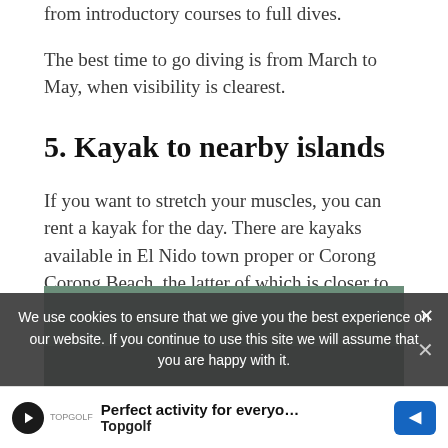from introductory courses to full dives.
The best time to go diving is from March to May, when visibility is clearest.
5. Kayak to nearby islands
If you want to stretch your muscles, you can rent a kayak for the day. There are kayaks available in El Nido town proper or Corong Corong Beach, the latter of which is closer to the islands.
[Figure (photo): Photo of kayaking or nearby islands scene]
We use cookies to ensure that we give you the best experience on our website. If you continue to use this site we will assume that you are happy with it.
Perfect activity for everyone Topgolf